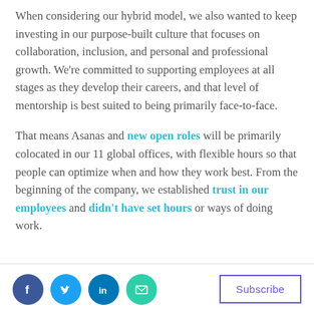When considering our hybrid model, we also wanted to keep investing in our purpose-built culture that focuses on collaboration, inclusion, and personal and professional growth. We're committed to supporting employees at all stages as they develop their careers, and that level of mentorship is best suited to being primarily face-to-face.
That means Asanas and new open roles will be primarily colocated in our 11 global offices, with flexible hours so that people can optimize when and how they work best. From the beginning of the company, we established trust in our employees and didn't have set hours or ways of doing work.
[Figure (infographic): Footer bar with social media icons (Facebook, Twitter, LinkedIn, Email) and a Subscribe button]